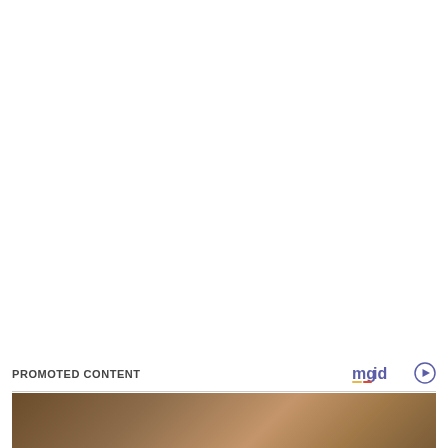[Figure (other): Large white/blank area occupying the top portion of the page]
PROMOTED CONTENT
[Figure (logo): mgid logo with play button icon in blue/yellow/red colors]
[Figure (photo): Partial photo strip at bottom showing two people, one with red item and one with blonde hair in warm toned setting]